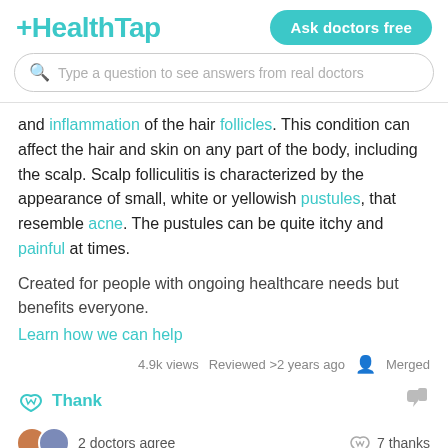HealthTap
and inflammation of the hair follicles. This condition can affect the hair and skin on any part of the body, including the scalp. Scalp folliculitis is characterized by the appearance of small, white or yellowish pustules, that resemble acne. The pustules can be quite itchy and painful at times.
Created for people with ongoing healthcare needs but benefits everyone.
Learn how we can help
4.9k views  Reviewed >2 years ago  Merged
Thank
2 doctors agree  7 thanks